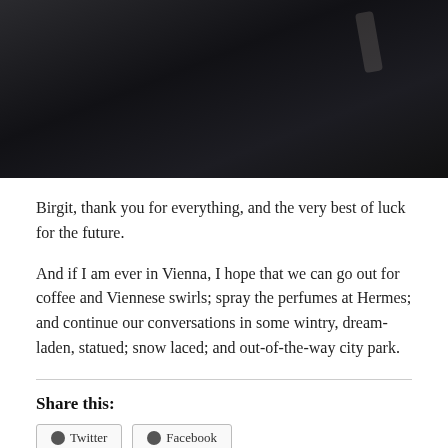[Figure (photo): Dark photograph showing figures in a dimly lit environment, predominantly black and dark tones with a faint light highlight visible in the upper right area.]
Birgit, thank you for everything, and the very best of luck for the future.
And if I am ever in Vienna, I hope that we can go out for coffee and Viennese swirls; spray the perfumes at Hermes; and continue our conversations in some wintry, dream-laden, statued; snow laced; and out-of-the-way city park.
Share this: